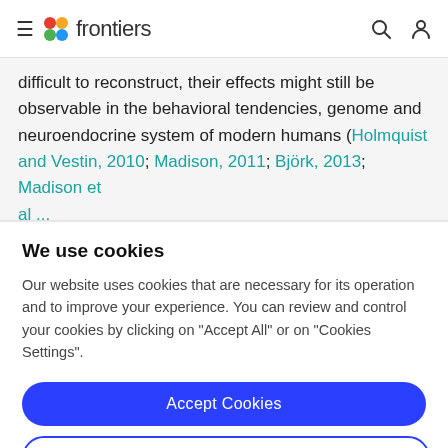frontiers
difficult to reconstruct, their effects might still be observable in the behavioral tendencies, genome and neuroendocrine system of modern humans (Holmquist and Vestin, 2010; Madison, 2011; Björk, 2013; Madison et al...
We use cookies
Our website uses cookies that are necessary for its operation and to improve your experience. You can review and control your cookies by clicking on "Accept All" or on "Cookies Settings".
Accept Cookies
Cookies Settings